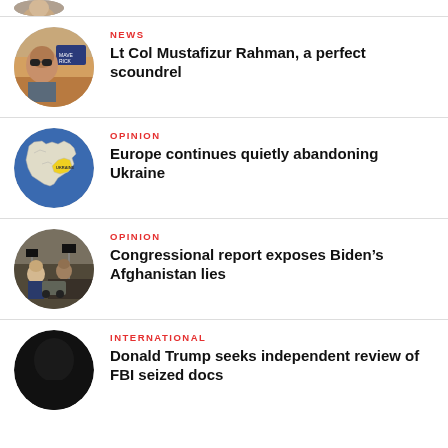[Figure (photo): Partial circular thumbnail at the top of the page, cropped]
NEWS
Lt Col Mustafizur Rahman, a perfect scoundrel
[Figure (map): Circular thumbnail of a map of Europe with Ukraine highlighted in yellow]
OPINION
Europe continues quietly abandoning Ukraine
[Figure (photo): Circular thumbnail with Biden and Afghan crowd]
OPINION
Congressional report exposes Biden’s Afghanistan lies
[Figure (photo): Circular thumbnail, dark silhouette portrait]
INTERNATIONAL
Donald Trump seeks independent review of FBI seized docs